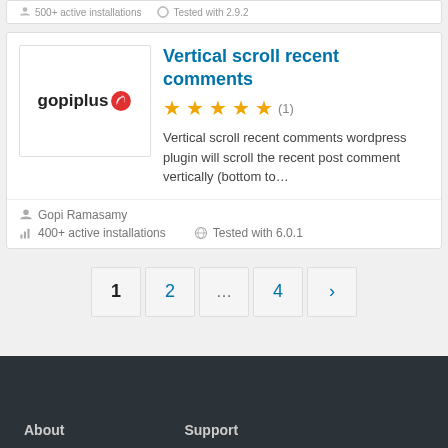400+ active installations   Tested with 2.9.2
Vertical scroll recent comments
[Figure (logo): gopiplus logo with red chili icon]
★★★★★ (1)
Vertical scroll recent comments wordpress plugin will scroll the recent post comment vertically (bottom to…
Gopi Ramasamy
400+ active installations   Tested with 6.0.1
1 2 … 4 ›
About   Support